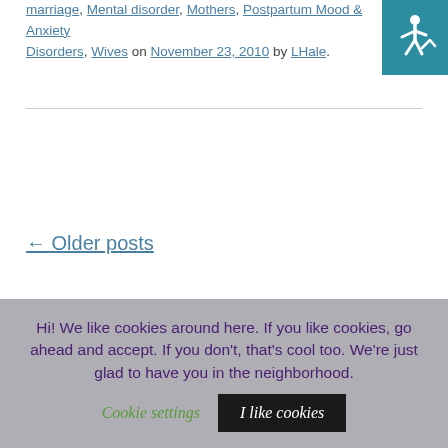marriage, Mental disorder, Mothers, Postpartum Mood & Anxiety Disorders, Wives on November 23, 2010 by LHale.
[Figure (other): Accessibility icon — white wheelchair symbol on teal/blue background]
← Older posts
Search (input box and button)
THE CLOUD
#mbsm #PPDChat advocacy anxiety Dads
Hi! We like cookies around here. If you like cookies, go ahead and accept. If you don't, that's cool too. We're just glad to have you in the neighborhood.
Cookie settings   I like cookies